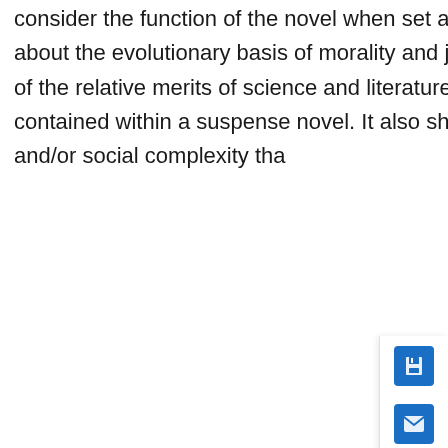consider the function of the novel when set against the claims of post-Darwinian science about the evolutionary basis of morality and judgement. This novel implicitly stages a contest of the relative merits of science and literature, as a careful fusion of form and content, contained within a suspense novel. It also shows humanity to be at a stage of evolution and/or social complexity tha
… Show More
Type: Chapter
[Figure (photo): Brain scan image showing a glowing human brain on a blue background]
in Ian McEwan Online Publication Date: 19 Jul 2013 ISBN: